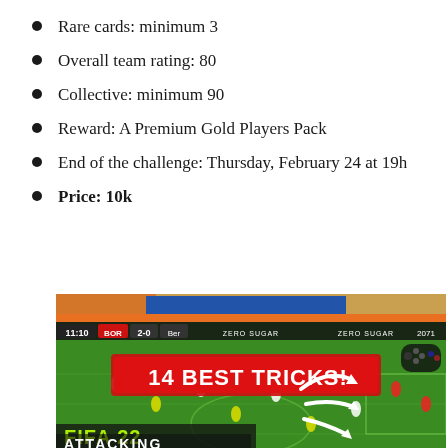Rare cards: minimum 3
Overall team rating: 80
Collective: minimum 90
Reward: A Premium Gold Players Pack
End of the challenge: Thursday, February 24 at 19h
Price: 10k
[Figure (screenshot): FIFA 22 video game screenshot showing a football match with overlay text '14 BEST TRICKS!' in red and white, and 'FIFA 22 ATTACKING' in yellow-green at the bottom. Scoreboard shows BOR 2-0 Ber at 11:10. White arrow graphics indicating player movement patterns are visible on the pitch.]